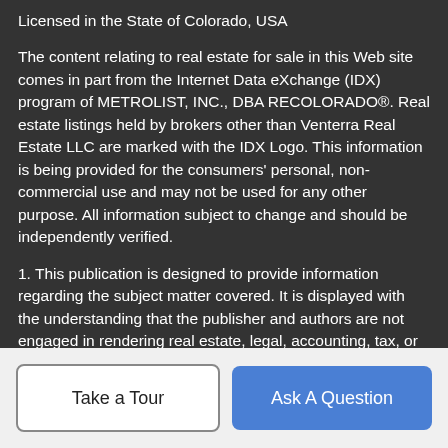Licensed in the State of Colorado, USA
The content relating to real estate for sale in this Web site comes in part from the Internet Data eXchange (IDX) program of METROLIST, INC., DBA RECOLORADO®. Real estate listings held by brokers other than Venterra Real Estate LLC are marked with the IDX Logo. This information is being provided for the consumers' personal, non-commercial use and may not be used for any other purpose. All information subject to change and should be independently verified.
1. This publication is designed to provide information regarding the subject matter covered. It is displayed with the understanding that the publisher and authors are not engaged in rendering real estate, legal, accounting, tax, or other professional services and that the publisher and authors are not offering such advice in this publication. If real estate, legal, or other expert assistance is required, the services of a competent, professional person should
Take a Tour
Ask A Question